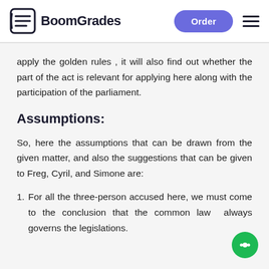BoomGrades | Order
apply the golden rules , it will also find out whether the part of the act is relevant for applying here along with the participation of the parliament.
Assumptions:
So, here the assumptions that can be drawn from the given matter, and also the suggestions that can be given to Freg, Cyril, and Simone are:
1. For all the three-person accused here, we must come to the conclusion that the common law always governs the legislations.